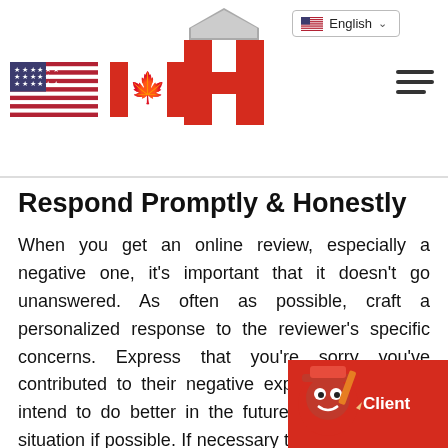English — navigation header with US flag, Canadian flag, Hibu logo, hamburger menu
Respond Promptly & Honestly
When you get an online review, especially a negative one, it's important that it doesn't go unanswered. As often as possible, craft a personalized response to the reviewer's specific concerns. Express that you're sorry you've contributed to their negative experience and you intend to do better in the future or to rectify the situation if possible. If necessary to expedite review responses, a few templates for responding to issues so that your staff has a head start on